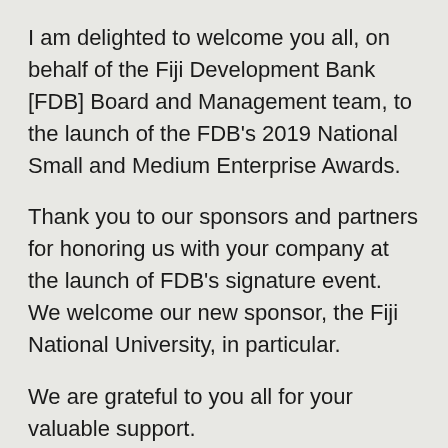I am delighted to welcome you all, on behalf of the Fiji Development Bank [FDB] Board and Management team, to the launch of the FDB's 2019 National Small and Medium Enterprise Awards.
Thank you to our sponsors and partners for honoring us with your company at the launch of FDB's signature event. We welcome our new sponsor, the Fiji National University, in particular.
We are grateful to you all for your valuable support.
Ladies and gentlemen,
Fiji's only Small & Medium Enterprise Awards, the FDB's National SME Awards, in its 15 years of existence, has offered the opportunity to SMEs to be recognized for being innovative and for approaching